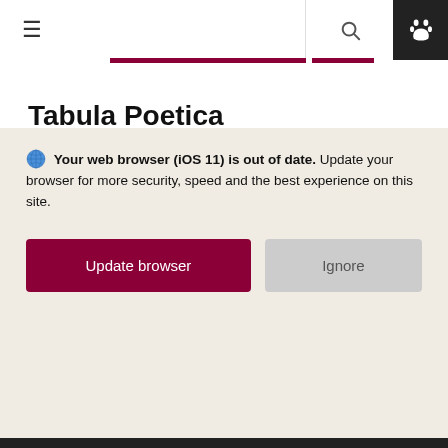≡  🔍  🐾
Tabula Poetica
🌐 Your web browser (iOS 11) is out of date. Update your browser for more security, speed and the best experience on this site.
Update browser | Ignore
Tabula Poetica: The Center for Poetry at Chapman
We use cookies to offer you a better browsing experience, analyze site traffic, and personalize content per the Chapman University Privacy Policy. If you continue to use this site, you consent to our use of cookies: Privacy Policy